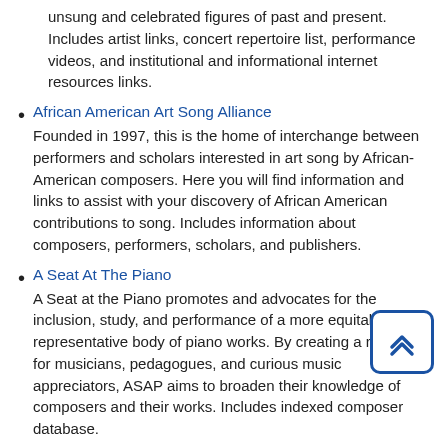unsung and celebrated figures of past and present. Includes artist links, concert repertoire list, performance videos, and institutional and informational internet resources links.
African American Art Song Alliance — Founded in 1997, this is the home of interchange between performers and scholars interested in art song by African-American composers. Here you will find information and links to assist with your discovery of African American contributions to song. Includes information about composers, performers, scholars, and publishers.
A Seat At The Piano — A Seat at the Piano promotes and advocates for the inclusion, study, and performance of a more equitably representative body of piano works. By creating a resource for musicians, pedagogues, and curious music appreciators, ASAP aims to broaden their knowledge of composers and their works. Includes indexed composer database.
Black Grooves — Reviews of new Black music releases, hosted by the Archives of African American Music and Culture; updated in monthly issues.
Afropop Worldwide — Afropop Worldwide is a Peabody award-winning radio program and online resource dedicated to music from Africa and the African...